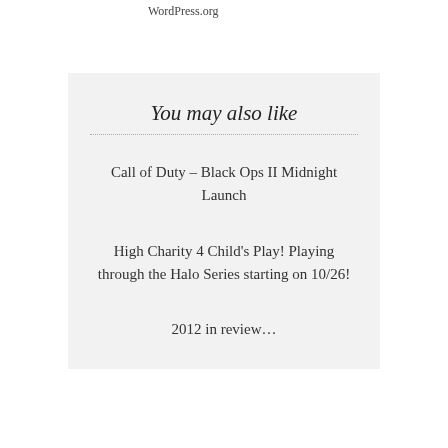WordPress.org
You may also like
Call of Duty – Black Ops II Midnight Launch
High Charity 4 Child's Play! Playing through the Halo Series starting on 10/26!
2012 in review…